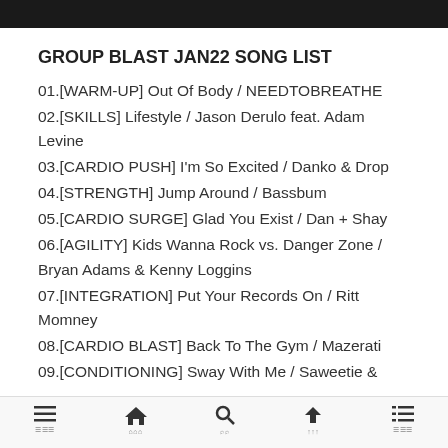GROUP BLAST JAN22 SONG LIST
01.[WARM-UP] Out Of Body / NEEDTOBREATHE
02.[SKILLS] Lifestyle / Jason Derulo feat. Adam Levine
03.[CARDIO PUSH] I'm So Excited / Danko & Drop
04.[STRENGTH] Jump Around / Bassbum
05.[CARDIO SURGE] Glad You Exist / Dan + Shay
06.[AGILITY] Kids Wanna Rock vs. Danger Zone / Bryan Adams & Kenny Loggins
07.[INTEGRATION] Put Your Records On / Ritt Momney
08.[CARDIO BLAST] Back To The Gym / Mazerati
09.[CONDITIONING] Sway With Me / Saweetie &